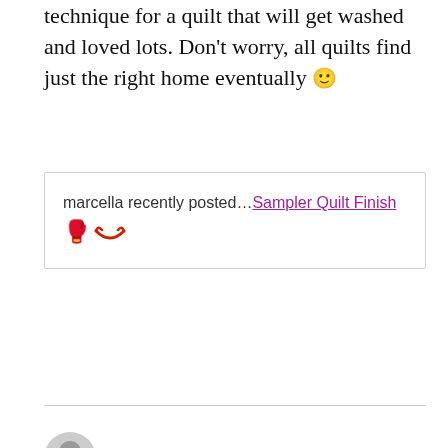technique for a quilt that will get washed and loved lots. Don't worry, all quilts find just the right home eventually 🙂
marcella recently posted…Sampler Quilt Finish 😈
Britt G.
March 22, 2013 at 1:33 pm
Privacy & Cookies: This site uses cookies. By continuing to use this website, you agree to their use.
To find out more, including how to control cookies, see here: Cookie & Privacy Policy
Close and accept